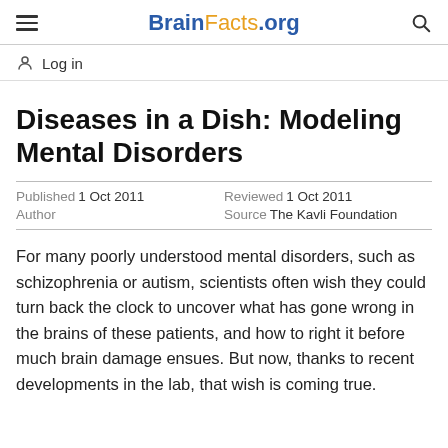BrainFacts.org
Log in
Diseases in a Dish: Modeling Mental Disorders
Published 1 Oct 2011   Reviewed 1 Oct 2011   Author   Source The Kavli Foundation
For many poorly understood mental disorders, such as schizophrenia or autism, scientists often wish they could turn back the clock to uncover what has gone wrong in the brains of these patients, and how to right it before much brain damage ensues. But now, thanks to recent developments in the lab, that wish is coming true.